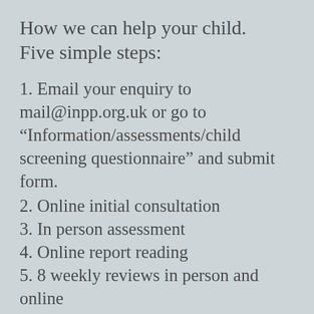How we can help your child. Five simple steps:
1. Email your enquiry to mail@inpp.org.uk or go to "Information/assessments/child screening questionnaire" and submit form.
2. Online initial consultation
3. In person assessment
4. Online report reading
5. 8 weekly reviews in person and online
From July 2021 INPP has resumed